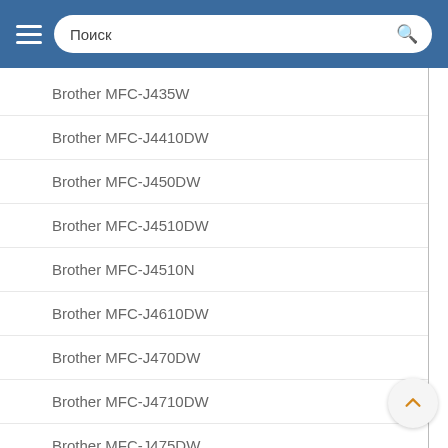Поиск
Brother MFC-J435W
Brother MFC-J4410DW
Brother MFC-J450DW
Brother MFC-J4510DW
Brother MFC-J4510N
Brother MFC-J4610DW
Brother MFC-J470DW
Brother MFC-J4710DW
Brother MFC-J475DW
Brother MFC-J5910DW
Brother MFC-J625DW